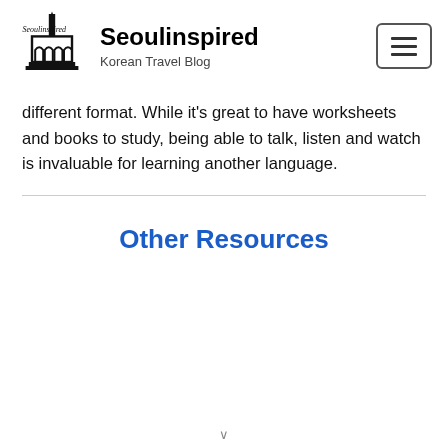Seoulinspired — Korean Travel Blog
different format. While it's great to have worksheets and books to study, being able to talk, listen and watch is invaluable for learning another language.
Other Resources